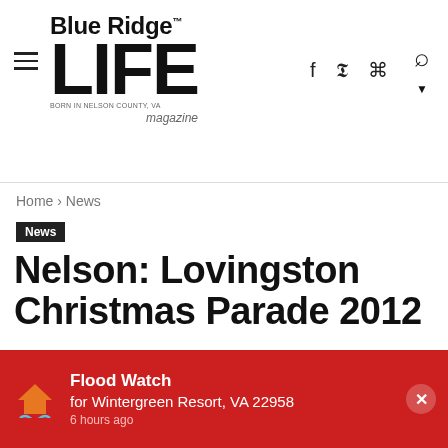Blue Ridge LIFE magazine
Home › News
News
Nelson: Lovingston Christmas Parade 2012
By BlueRidgeLife - December 3, 2012  160  0
[Figure (screenshot): Social share buttons row: Facebook, Twitter, Pinterest, WhatsApp, LinkedIn, Email, Print]
[Figure (photo): Partial photo of a person, appears to be from the Lovingston Christmas Parade 2012]
Flood Watch for Wintergreen Resort, VA 22958 6 hours ago